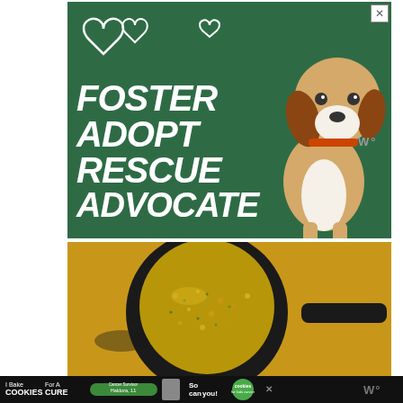[Figure (illustration): Green advertisement banner reading FOSTER ADOPT RESCUE ADVOCATE with a beagle dog graphic and heart icons on a dark green background. An X close button appears in the top right corner.]
[Figure (photo): Close-up photograph of a cast iron skillet containing a grainy or cornmeal-like mixture, on a golden/yellow surface background.]
[Figure (illustration): Bottom banner advertisement on dark background: 'I Bake COOKIES For A CURE' with text 'Haldora, 11 Cancer Survivor' and 'So can you!' with a green cookies for kids cancer circular logo. An X close button on the right.]